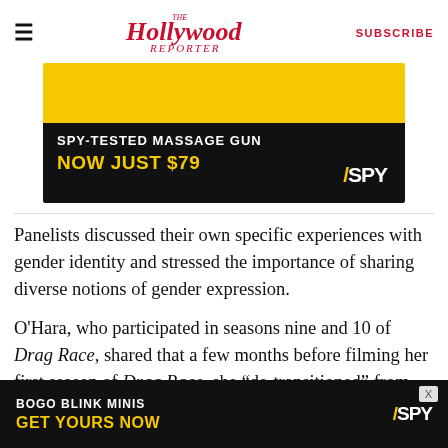The Hollywood Reporter | SUBSCRIBE
[Figure (photo): SPY advertisement banner: SPY-TESTED MASSAGE GUN NOW JUST $79 on black and yellow background with SPY logo]
Panelists discussed their own specific experiences with gender identity and stressed the importance of sharing diverse notions of gender expression.
O'Hara, who participated in seasons nine and 10 of Drag Race, shared that a few months before filming her first season of Drag Race, she "de-transitioned" from identifying as a woman to
[Figure (photo): SPY advertisement banner at bottom: BOGO BLINK MINIS GET YOURS NOW with SPY logo on black background]